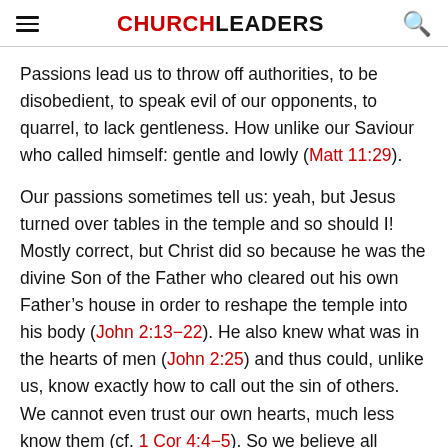CHURCHLEADERS
Passions lead us to throw off authorities, to be disobedient, to speak evil of our opponents, to quarrel, to lack gentleness. How unlike our Saviour who called himself: gentle and lowly (Matt 11:29).
Our passions sometimes tell us: yeah, but Jesus turned over tables in the temple and so should I! Mostly correct, but Christ did so because he was the divine Son of the Father who cleared out his own Father’s house in order to reshape the temple into his body (John 2:13−22). He also knew what was in the hearts of men (John 2:25) and thus could, unlike us, know exactly how to call out the sin of others. We cannot even trust our own hearts, much less know them (cf. 1 Cor 4:4−5). So we believe all things without naivety; we love according to our ability (1 Cor 13:6). Christ also escaped